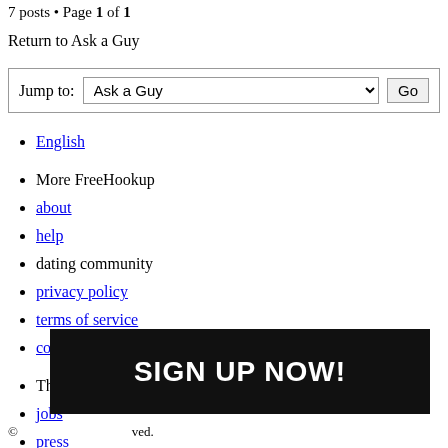7 posts • Page 1 of 1
Return to Ask a Guy
Jump to: Ask a Guy   Go
English
More FreeHookup
about
help
dating community
privacy policy
terms of service
contact
The Company
jobs
press
blog
[Figure (other): Black banner with white bold text reading SIGN UP NOW!]
© [truncated] reserved.